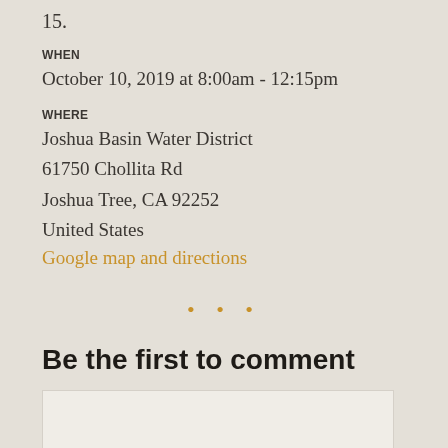15.
WHEN
October 10, 2019 at 8:00am - 12:15pm
WHERE
Joshua Basin Water District
61750 Chollita Rd
Joshua Tree, CA 92252
United States
Google map and directions
• • •
Be the first to comment